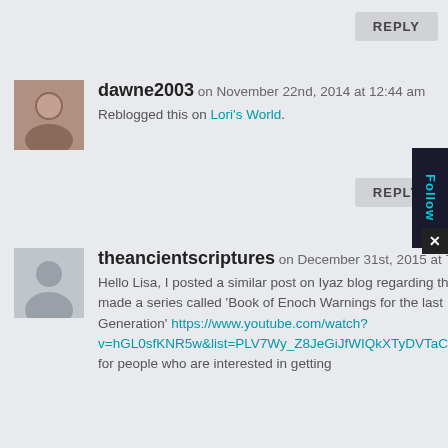REPLY
dawne2003 on November 22nd, 2014 at 12:44 am
Reblogged this on Lori's World.
REPLY
theancientscriptures on December 31st, 2015 at 7:18 pm
Hello Lisa, I posted a similar post on Iyaz blog regarding that I made a series called 'Book of Enoch Warnings for the last Generation' https://www.youtube.com/watch?v=hGL0sfKNR5w&list=PLV7Wy_Z8JeGiJfWIQkXTyDVTaCdfnxAqx for people who are interested in getting